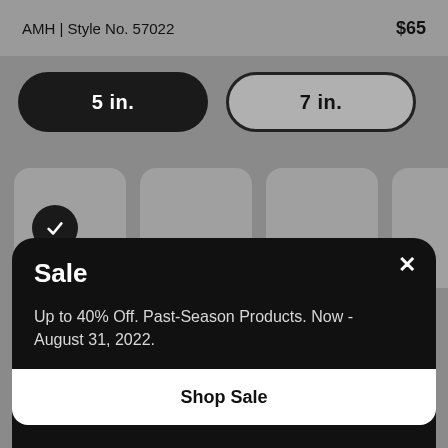AMH | Style No. 57022
$65
5 in.
7 in.
[Figure (screenshot): Color swatch selector row with first swatch selected (checkmark) and three more swatches to the right]
Sale
Up to 40% Off. Past-Season Products. Now - August 31, 2022.
Shop Sale